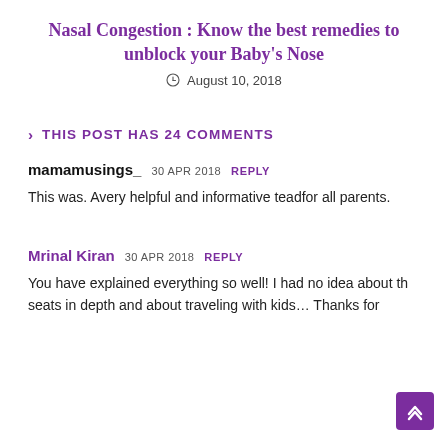Nasal Congestion : Know the best remedies to unblock your Baby's Nose
August 10, 2018
THIS POST HAS 24 COMMENTS
mamamusings_  30 APR 2018  REPLY
This was. Avery helpful and informative teadfor all parents.
Mrinal Kiran  30 APR 2018  REPLY
You have explained everything so well! I had no idea about the seats in depth and about traveling with kids… Thanks for